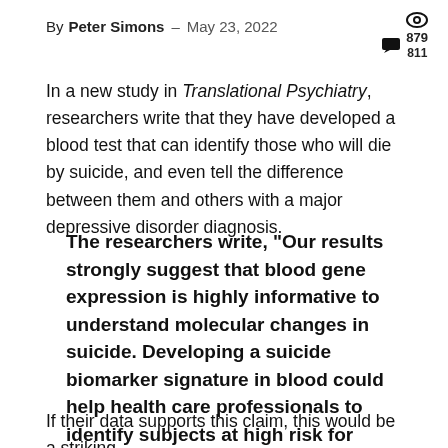By Peter Simons – May 23, 2022
In a new study in Translational Psychiatry, researchers write that they have developed a blood test that can identify those who will die by suicide, and even tell the difference between them and others with a major depressive disorder diagnosis.
The researchers write, “Our results strongly suggest that blood gene expression is highly informative to understand molecular changes in suicide. Developing a suicide biomarker signature in blood could help health care professionals to identify subjects at high risk for suicide.”
If their data supports this claim, this would be a striking breakthrough—a true blood test that could accurately identif…